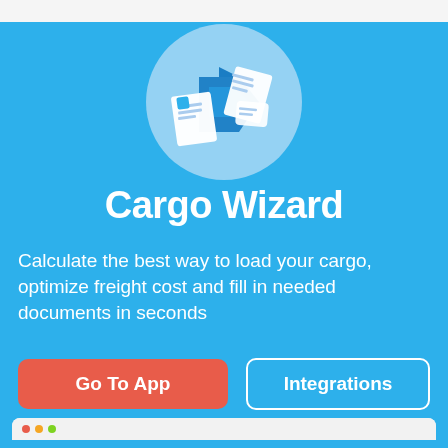[Figure (illustration): Circular icon with blue background showing a 3D-style illustration of documents/files flying out, with blue arrow/folder shapes, on a light blue circular backdrop]
Cargo Wizard
Calculate the best way to load your cargo, optimize freight cost and fill in needed documents in seconds
[Figure (screenshot): Browser window mockup showing the Cargo Wizard app interface with a blue header bar containing the text CARGO WIZARD]